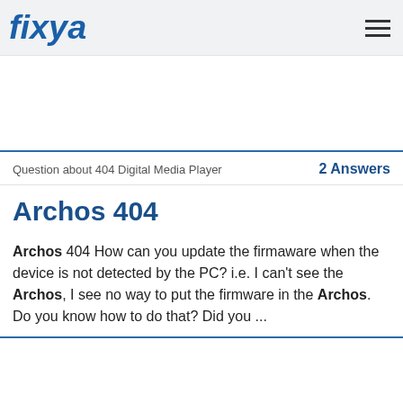fixya
Question about 404 Digital Media Player   2 Answers
Archos 404
Archos 404 How can you update the firmaware when the device is not detected by the PC? i.e. I can't see the Archos, I see no way to put the firmware in the Archos. Do you know how to do that? Did you ...